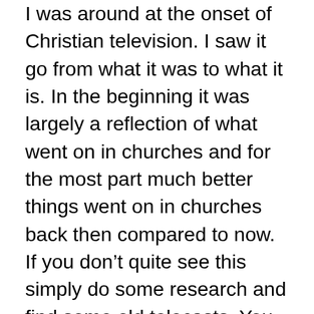I was around at the onset of Christian television. I saw it go from what it was to what it is. In the beginning it was largely a reflection of what went on in churches and for the most part much better things went on in churches back then compared to now. If you don't quite see this simply do some research and find some old telecasts. You will see how much things have changed.
In time, as it always seems to happen, an inevitable devolution takes place. The more successful Christian television has become the more spiritually worthless it has become. It has now become thoroughly invaded by what we used to call “worldliness.” It has become a reflection of this world, of current human cultures. Because the medium has appropriated a growing lack of love for spiritual truth it has largely become blinded to it and has thus embraced much untruth masquerading as truth. And